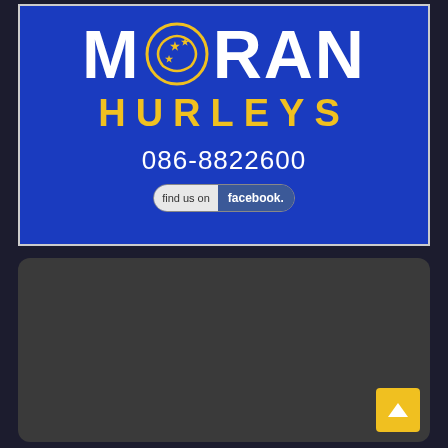[Figure (logo): Moran Hurleys advertisement banner on blue background. Large white bold 'MORAN' text with yellow circular logo replacing the 'O'. Yellow 'HURLEYS' text below. Phone number 086-8822600 in white. 'find us on facebook.' badge at the bottom.]
[Figure (other): Dark grey card/panel, partially visible, with a yellow scroll-to-top button in the bottom right corner containing an upward arrow.]